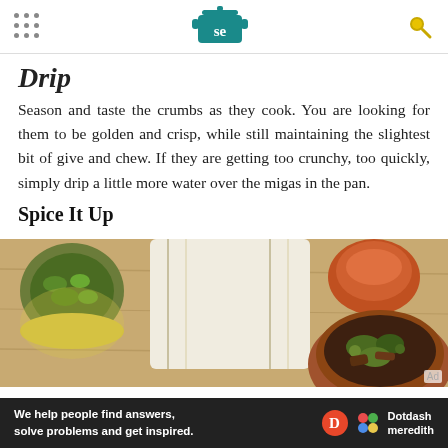Serious Eats header with navigation dots, logo, and search icon
Drip
Season and taste the crumbs as they cook. You are looking for them to be golden and crisp, while still maintaining the slightest bit of give and chew. If they are getting too crunchy, too quickly, simply drip a little more water over the migas in the pan.
Spice It Up
[Figure (photo): Overhead shot of cooking ingredients on a wooden surface: a bowl of chopped green herbs, a striped towel, bowls of spices, and a clay bowl with cooked food garnished with greens]
We help people find answers, solve problems and get inspired. Dotdash meredith